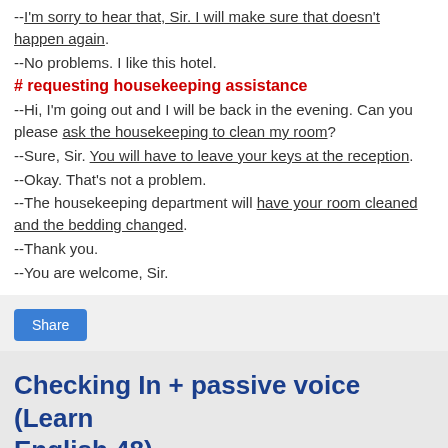--I'm sorry to hear that, Sir. I will make sure that doesn't happen again.
--No problems. I like this hotel.
# requesting housekeeping assistance
--Hi, I'm going out and I will be back in the evening. Can you please ask the housekeeping to clean my room?
--Sure, Sir. You will have to leave your keys at the reception.
--Okay. That's not a problem.
--The housekeeping department will have your room cleaned and the bedding changed.
--Thank you.
--You are welcome, Sir.
Checking In + passive voice (Learn English 48)